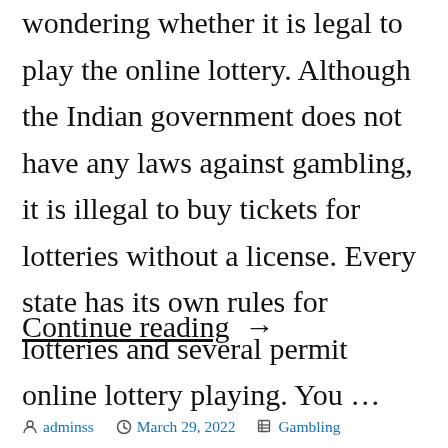wondering whether it is legal to play the online lottery. Although the Indian government does not have any laws against gambling, it is illegal to buy tickets for lotteries without a license. Every state has its own rules for lotteries and several permit online lottery playing. You …
Continue reading →
adminss   March 29, 2022   Gambling